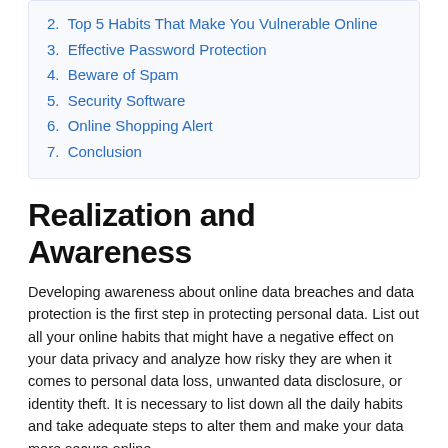2. Top 5 Habits That Make You Vulnerable Online
3. Effective Password Protection
4. Beware of Spam
5. Security Software
6. Online Shopping Alert
7. Conclusion
Realization and Awareness
Developing awareness about online data breaches and data protection is the first step in protecting personal data. List out all your online habits that might have a negative effect on your data privacy and analyze how risky they are when it comes to personal data loss, unwanted data disclosure, or identity theft. It is necessary to list down all the daily habits and take adequate steps to alter them and make your data more secure online.
Top 5 Habits That Make You